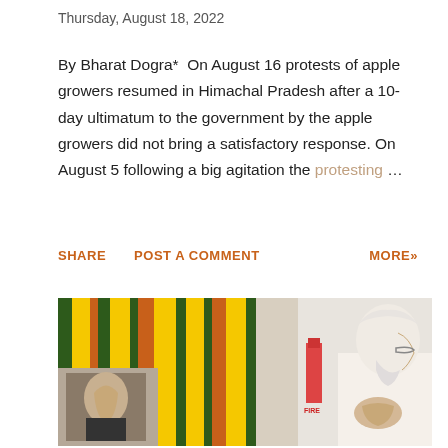Thursday, August 18, 2022
By Bharat Dogra*  On August 16 protests of apple growers resumed in Himachal Pradesh after a 10-day ultimatum to the government by the apple growers did not bring a satisfactory response. On August 5 following a big agitation the protesting …
SHARE  POST A COMMENT  MORE»
[Figure (photo): A man with white hair and beard in a white shirt with hands folded in prayer (namaste gesture) facing a portrait garland with marigold and other flowers, with a fire extinguisher visible on the wall in the background.]